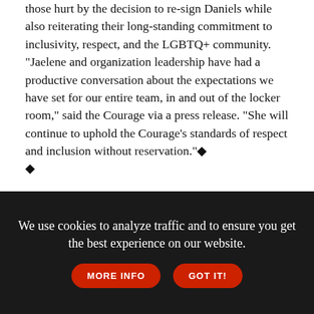those hurt by the decision to re-sign Daniels while also reiterating their long-standing commitment to inclusivity, respect, and the LGBTQ+ community. "Jaelene and organization leadership have had a productive conversation about the expectations we have set for our entire team, in and out of the locker room," said the Courage via a press release. "She will continue to uphold the Courage's standards of respect and inclusion without reservation." ◆ ◆
[Figure (screenshot): Advertisement banner: Vermont's State Motto: Freedom and Unity — Celebrate Pride Amidst Vermont's Natural Beauty, with a scenic mountain/barn background image.]
[Figure (photo): Photo of a smiling woman with dark hair in a ponytail, wearing a dark Nike top, walking through what appears to be a tunnel or corridor.]
We use cookies to analyze traffic and to ensure you get the best experience on our website. MORE INFO GOT IT!